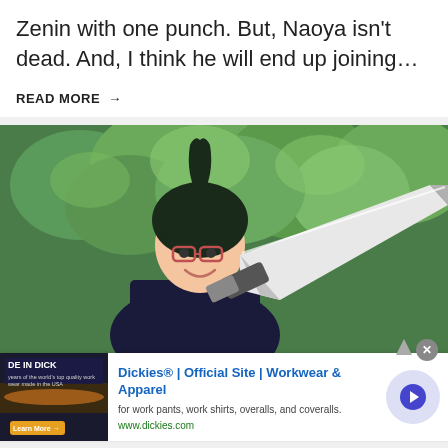Zenin with one punch. But, Naoya isn't dead. And, I think he will end up joining…
READ MORE →
[Figure (illustration): Anime screenshot of a female character with dark hair and glasses wearing a dark uniform, holding a large blade/sword, with green trees in the background. Style is Jujutsu Kaisen anime.]
Dickies® | Official Site | Workwear & Apparel
for work pants, work shirts, overalls, and coveralls.
www.dickies.com